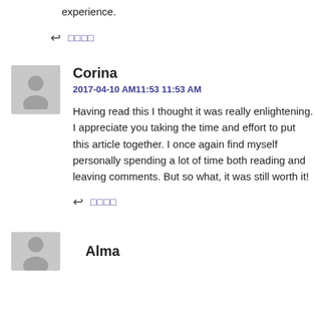experience.
↩ 댓글
Corina
2017-04-10 AM11:53 11:53 AM
Having read this I thought it was really enlightening. I appreciate you taking the time and effort to put this article together. I once again find myself personally spending a lot of time both reading and leaving comments. But so what, it was still worth it!
↩ 댓글
Alma